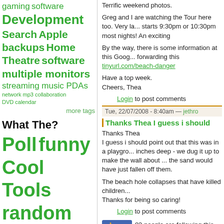gaming software Development Search Apple backups Home Theatre software multiple monitors streaming music PDAs network mp3 collaboration DVD calendar
more tags
What The?
Poll funny Cool Tools random Free surfing plain weird Spouse 2.0
Chapters
Urban Space - Chapter 1
Urban Space - Chapter 2
Urban Space - Chapter 3
Urban Space - Chapter 4
Urban Space - Chapter 5
Terrific weekend photos.
Greg and I are watching the Tour here too. Very la... starts 9:30pm or 10:30pm most nights! An exciting
By the way, there is some information at this Goog... forwarding this tinyurl.com/beach-danger
Have a top week.
Cheers, Thea
Login to post comments
Tue, 22/07/2008 - 8:40am — jethro
Thanks Thea I guess i should
Thanks Thea
I guess i should point out that this was in a playgro... inches deep - we dug it up to make the wall about ... the sand would have just fallen off them.
The beach hole collapses that have killed children...
Thanks for being so caring!
Login to post comments
👍 Follow  82 people are following this. Be the first